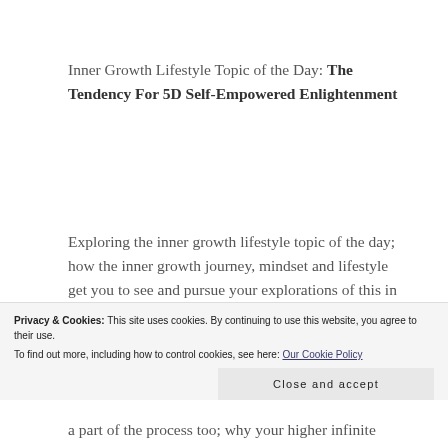Inner Growth Lifestyle Topic of the Day: The Tendency For 5D Self-Empowered Enlightenment
Exploring the inner growth lifestyle topic of the day; how the inner growth journey, mindset and lifestyle get you to see and pursue your explorations of this in cosmic consciousness; how
Privacy & Cookies: This site uses cookies. By continuing to use this website, you agree to their use. To find out more, including how to control cookies, see here: Our Cookie Policy
a part of the process too; why your higher infinite